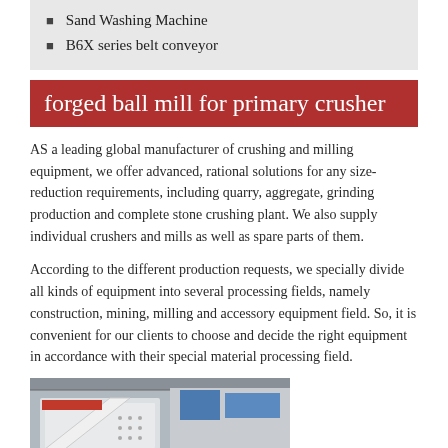Sand Washing Machine
B6X series belt conveyor
forged ball mill for primary crusher
AS a leading global manufacturer of crushing and milling equipment, we offer advanced, rational solutions for any size-reduction requirements, including quarry, aggregate, grinding production and complete stone crushing plant. We also supply individual crushers and mills as well as spare parts of them.
According to the different production requests, we specially divide all kinds of equipment into several processing fields, namely construction, mining, milling and accessory equipment field. So, it is convenient for our clients to choose and decide the right equipment in accordance with their special material processing field.
[Figure (photo): Industrial crushing/milling equipment in a factory setting, showing large white machinery with red components on a factory floor.]